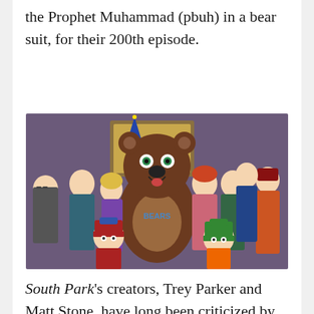the Prophet Muhammad (pbuh) in a bear suit, for their 200th episode.
[Figure (photo): South Park animated scene showing a large brown bear mascot costume character with 'BEARS' written on its belly, surrounded by various South Park animated characters including Stan and Kyle in the foreground.]
South Park's creators, Trey Parker and Matt Stone, have long been criticized by many various groups for their raunchy, comedic style, which also happens to offend a great deal of the American public. The show has poked fun at Christians, Jews, Buddhists,